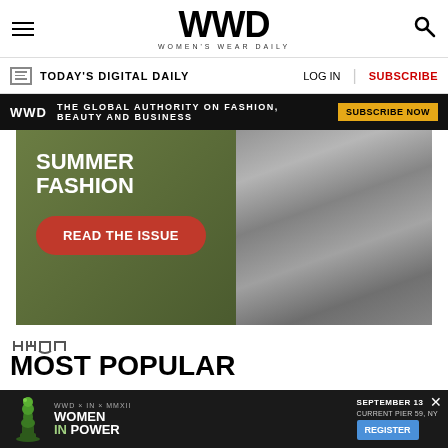WWD WOMEN'S WEAR DAILY
TODAY'S DIGITAL DAILY   LOG IN   SUBSCRIBE
[Figure (infographic): Black banner: WWD logo, 'THE GLOBAL AUTHORITY ON FASHION, BEAUTY AND BUSINESS', SUBSCRIBE NOW button in gold]
[Figure (infographic): Summer Fashion ad with olive green background, white text 'SUMMER FASHION', red button 'READ THE ISSUE', photo of person on right]
PMC
MOST POPULAR
Variety
1. Brendan Fraser Breaks Down in Tears as 'The Whale'
[Figure (infographic): Bottom ad: WWD x IN x MMXII, WOMEN IN POWER, SEPTEMBER 13, CURRENT PIER 59, NY, REGISTER button, chess piece graphic. X close button.]